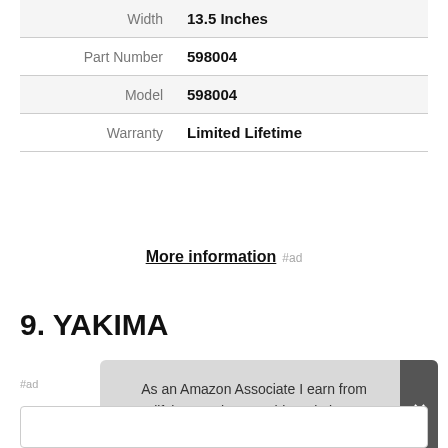| Attribute | Value |
| --- | --- |
| Width | 13.5 Inches |
| Part Number | 598004 |
| Model | 598004 |
| Warranty | Limited Lifetime |
More information #ad
9. YAKIMA
#ad
As an Amazon Associate I earn from qualifying purchases. This website uses the only necessary cookies to ensure you get the best experience on our website. More information